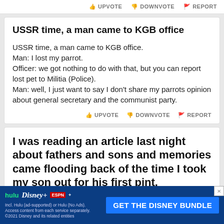UPVOTE  DOWNVOTE  REPORT
USSR time, a man came to KGB office
USSR time, a man came to KGB office.
Man: I lost my parrot.
Officer: we got nothing to do with that, but you can report lost pet to Militia (Police).
Man: well, I just want to say I don't share my parrots opinion about general secretary and the communist party.
UPVOTE  DOWNVOTE  REPORT
I was reading an article last night about fathers and sons and memories came flooding back of the time I took my son out for his first pint.
Got h...
Then ...
It was...
By the time we got down to the whiskey I could
[Figure (screenshot): Hulu Disney+ ESPN+ GET THE DISNEY BUNDLE advertisement banner. Dark blue background with streaming service logos on left and blue CTA button on right. Fine print: Incl. Hulu (ad-supported) or Hulu (No Ads). Access content from each service separately. ©2021 Disney and its related entities]